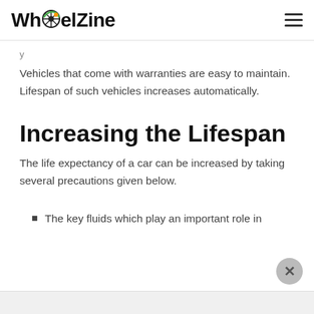WheelZine
Vehicles that come with warranties are easy to maintain. Lifespan of such vehicles increases automatically.
Increasing the Lifespan
The life expectancy of a car can be increased by taking several precautions given below.
The key fluids which play an important role in